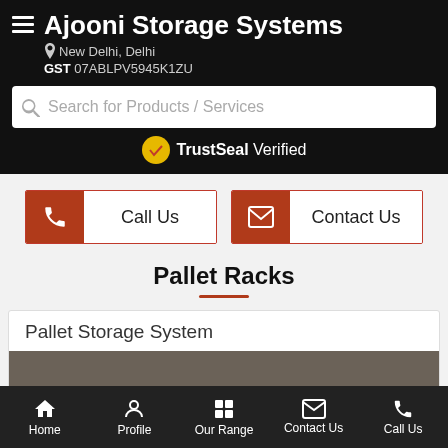Ajooni Storage Systems
New Delhi, Delhi
GST 07ABLPV5945K1ZU
Search for Products / Services
TrustSeal Verified
Call Us
Contact Us
Pallet Racks
Pallet Storage System
Home  Profile  Our Range  Contact Us  Call Us